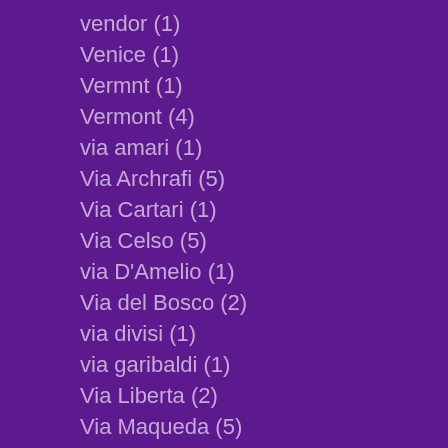vendor (1)
Venice (1)
Vermnt (1)
Vermont (4)
via amari (1)
Via Archrafi (5)
Via Cartari (1)
Via Celso (5)
via D'Amelio (1)
Via del Bosco (2)
via divisi (1)
via garibaldi (1)
Via Liberta (2)
Via Maqueda (5)
via Vittorio Emanuele (1)
via vittorio emanuele 187 (1)
viareggio (1)
Vicari (1)
vicolo (1)